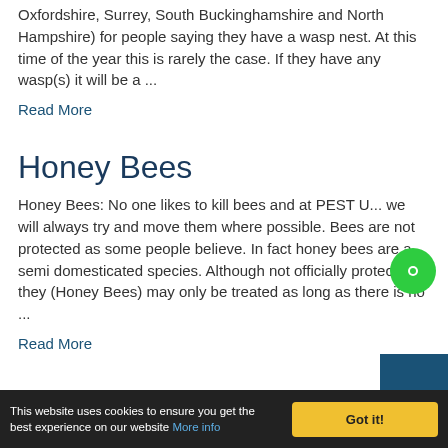Oxfordshire, Surrey, South Buckinghamshire and North Hampshire) for people saying they have a wasp nest. At this time of the year this is rarely the case. If they have any wasp(s) it will be a ...
Read More
Honey Bees
Honey Bees: No one likes to kill bees and at PEST U... we will always try and move them where possible. Bees are not protected as some people believe. In fact honey bees are a semi domesticated species. Although not officially protected they (Honey Bees) may only be treated as long as there is no ...
Read More
This website uses cookies to ensure you get the best experience on our website More info | Got it!